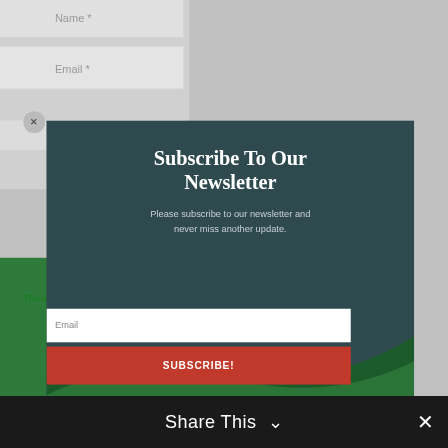Name *
Email *
Website
Subscribe To Our Newsletter
Please subscribe to our newsletter and never miss another update.
This site uses Akismet to reduce spam. Learn how your comment data is processed.
Email
SUBSCRIBE!
Share This